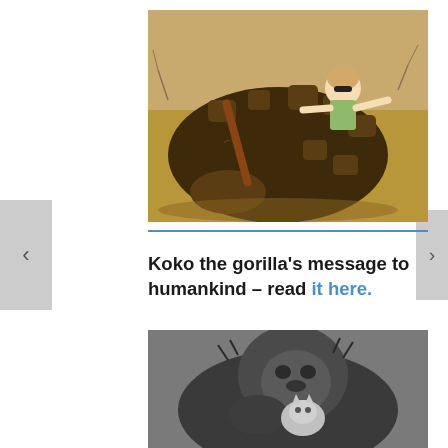[Figure (photo): A woman posing with arms outstretched on top of a dead giraffe lying on dry savanna ground]
Koko the gorilla's message to humankind – read it here.
[Figure (photo): Black and white close-up photograph of a gorilla holding a small kitten]